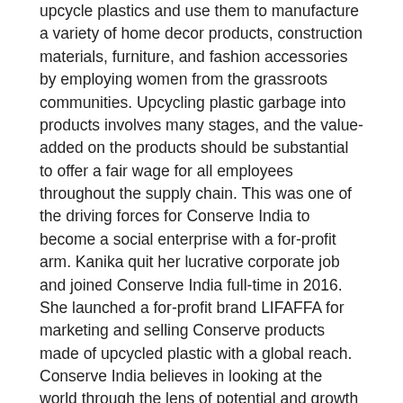upcycle plastics and use them to manufacture a variety of home decor products, construction materials, furniture, and fashion accessories by employing women from the grassroots communities. Upcycling plastic garbage into products involves many stages, and the value-added on the products should be substantial to offer a fair wage for all employees throughout the supply chain. This was one of the driving forces for Conserve India to become a social enterprise with a for-profit arm. Kanika quit her lucrative corporate job and joined Conserve India full-time in 2016. She launched a for-profit brand LIFAFFA for marketing and selling Conserve products made of upcycled plastic with a global reach. Conserve India believes in looking at the world through the lens of potential and growth rather than poverty and financial disparities.
“I was exposed to the problems caused by waste, especially plastic waste, and the poverty of the people in the urban slums from a young age when I was working with Conserve India, an NGO started by my parents. After my MBA, I joined a corporate job but it seemed very vague to me because it was always in me to do something about these issues and